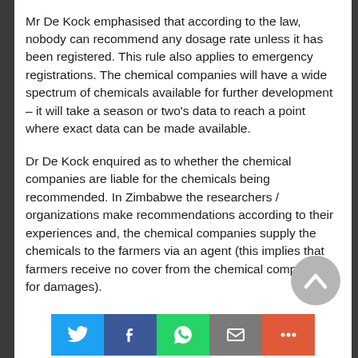Mr De Kock emphasised that according to the law, nobody can recommend any dosage rate unless it has been registered. This rule also applies to emergency registrations. The chemical companies will have a wide spectrum of chemicals available for further development – it will take a season or two's data to reach a point where exact data can be made available.
Dr De Kock enquired as to whether the chemical companies are liable for the chemicals being recommended. In Zimbabwe the researchers / organizations make recommendations according to their experiences and, the chemical companies supply the chemicals to the farmers via an agent (this implies that farmers receive no cover from the chemical companies for damages).
Mr Van Rij asked how one would know whether the disease had become endemic. He also commented that the registration authorities in Zimbabwe go for